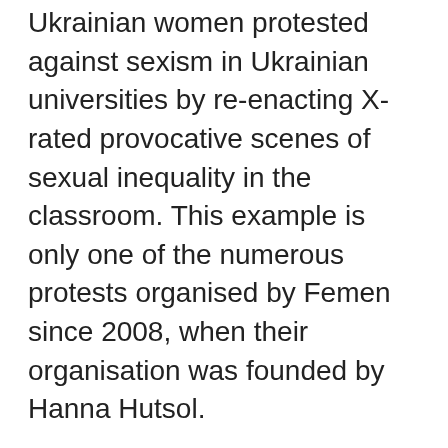Ukrainian women protested against sexism in Ukrainian universities by re-enacting X-rated provocative scenes of sexual inequality in the classroom. This example is only one of the numerous protests organised by Femen since 2008, when their organisation was founded by Hanna Hutsol.
At the moment, Femen are a well-known yet unregistered group of female protesters, who regularly go topless with traditional Ukrainian flower garlands in their hair, wear knickers made from surgical masks, and even mud-wrestle naked to draw attention to their cause. The group has about 400 members, all with Ukrainian backgrounds, located across the world. They are in their 20s, look like models, and